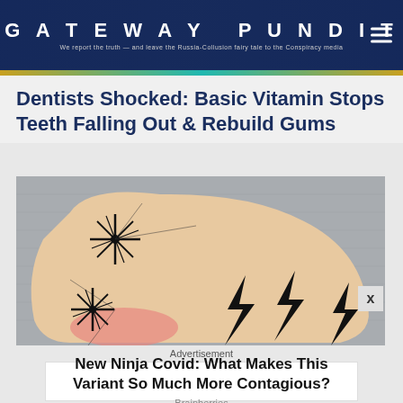GATEWAY PUNDIT
We report the truth — and leave the Russia-Collusion fairy tale to the Conspiracy media
Dentists Shocked: Basic Vitamin Stops Teeth Falling Out & Rebuild Gums
[Figure (photo): A human foot/ankle resting on a gray fabric surface, with graphic overlays of black starburst/sparkle symbols and lightning bolt shapes drawn on it.]
Advertisement
New Ninja Covid: What Makes This Variant So Much More Contagious?
Brainberries